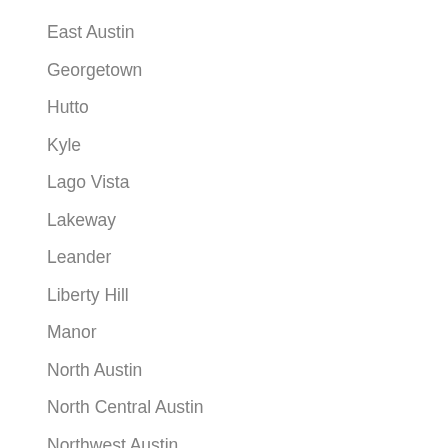East Austin
Georgetown
Hutto
Kyle
Lago Vista
Lakeway
Leander
Liberty Hill
Manor
North Austin
North Central Austin
Northwest Austin
Northeast Austin
Pflugerville
Rollingwood